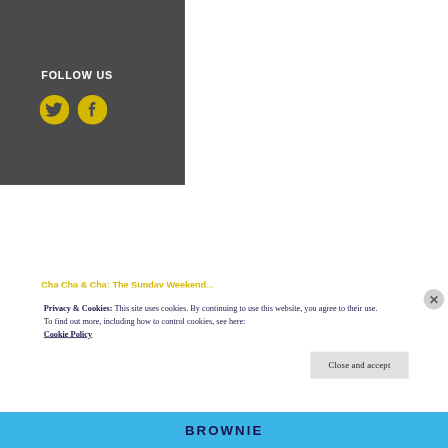FOLLOW US
[Figure (illustration): Yellow Twitter bird icon and yellow Facebook circular icon]
RECENT POSTS
Privacy & Cookies: This site uses cookies. By continuing to use this website, you agree to their use.
To find out more, including how to control cookies, see here: Cookie Policy
Close and accept